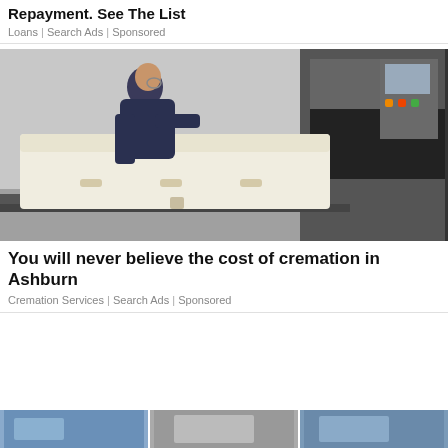Repayment. See The List
Loans | Search Ads | Sponsored
[Figure (photo): A person in dark clothing sliding a white casket into a cremation furnace in an industrial setting.]
You will never believe the cost of cremation in Ashburn
Cremation Services | Search Ads | Sponsored